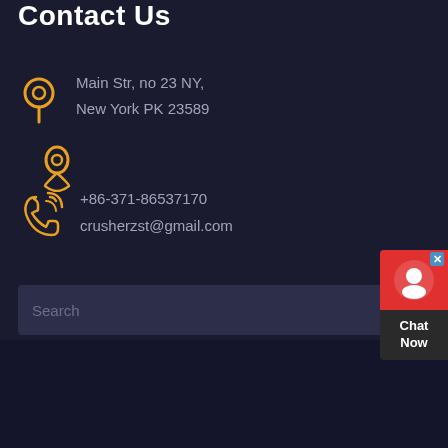Contact Us
Main Str, no 23 NY,
New York PK 23589
+86-371-86537170
crusherzst@gmail.com
Search
[Figure (illustration): Chat Now widget with red background, support icon, and dark 'Chat Now' label]
Home
About us
Products
Contact